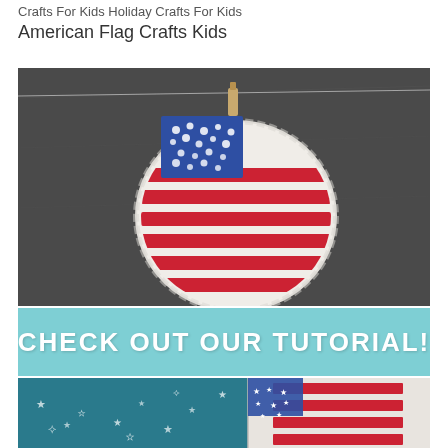Crafts For Kids Holiday Crafts For Kids American Flag Crafts Kids
[Figure (photo): A paper plate decorated as an American flag with red painted stripes and a blue square card with white dot stars, clipped to a wire with a wooden clothespin, hanging against a dark chalkboard background.]
CHECK OUT OUR TUTORIAL!
[Figure (photo): A partial view of another American flag craft on a paper plate, with a teal starry night background, showing red and white stripes on the right side and blue with white stars on the left.]